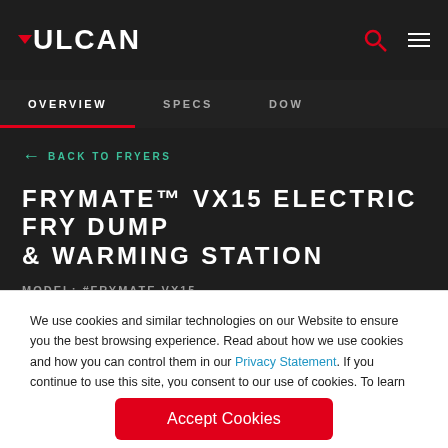VULCAN — OVERVIEW | SPECS | DOW
← BACK TO FRYERS
FRYMATE™ VX15 ELECTRIC FRY DUMP & WARMING STATION
MODEL: #FRYMATE VX15
We use cookies and similar technologies on our Website to ensure you the best browsing experience. Read about how we use cookies and how you can control them in our Privacy Statement. If you continue to use this site, you consent to our use of cookies. To learn more, click here.
Accept Cookies